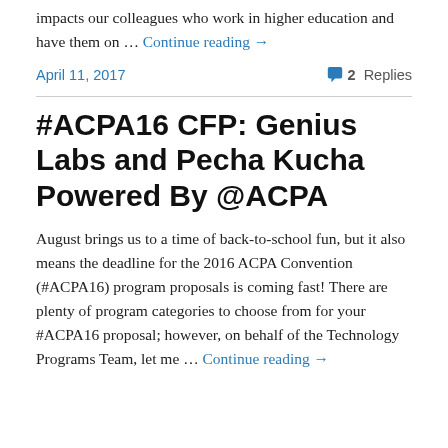…impacts our colleagues who work in higher education and have them on … Continue reading →
April 11, 2017    💬 2 Replies
#ACPA16 CFP: Genius Labs and Pecha Kucha Powered By @ACPA
August brings us to a time of back-to-school fun, but it also means the deadline for the 2016 ACPA Convention (#ACPA16) program proposals is coming fast! There are plenty of program categories to choose from for your #ACPA16 proposal; however, on behalf of the Technology Programs Team, let me … Continue reading →